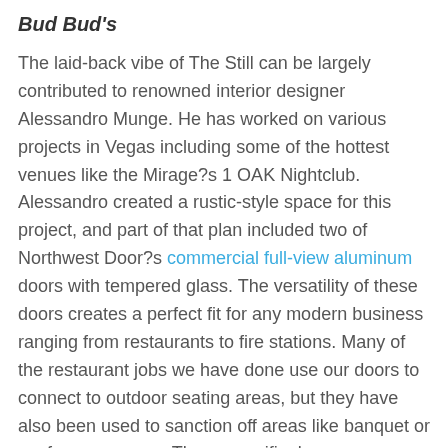Bud Bud's
The laid-back vibe of The Still can be largely contributed to renowned interior designer Alessandro Munge. He has worked on various projects in Vegas including some of the hottest venues like the Mirage?s 1 OAK Nightclub. Alessandro created a rustic-style space for this project, and part of that plan included two of Northwest Door?s commercial full-view aluminum doors with tempered glass. The versatility of these doors creates a perfect fit for any modern business ranging from restaurants to fire stations. Many of the restaurant jobs we have done use our doors to connect to outdoor seating areas, but they have also been used to sanction off areas like banquet or conference rooms. These specific doors were installed by McKeon Door in Las Vegas.
Check out our selection of commercial garage doors today!